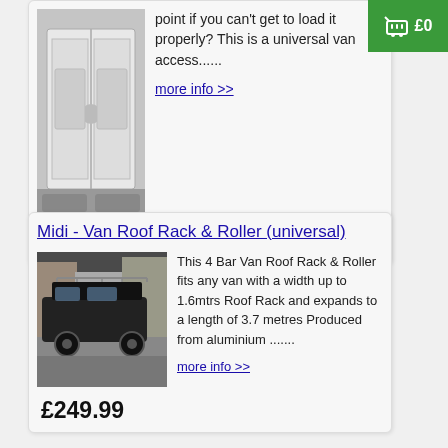[Figure (photo): Shopping cart icon with £0 label on green background, top right corner]
point if you can't get to load it properly? This is a universal van access......
more info >>
[Figure (photo): White van with open rear doors showing interior]
£91.40
Midi - Van Roof Rack & Roller (universal)
[Figure (photo): Black van with roof rack fitted, parked on street]
This 4 Bar Van Roof Rack & Roller fits any van with a width up to 1.6mtrs Roof Rack and expands to a length of 3.7 metres Produced from aluminium .......
more info >>
£249.99